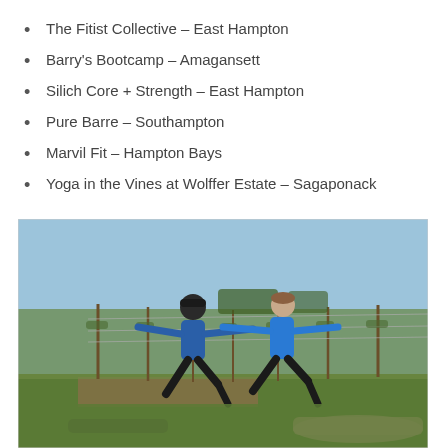The Fitist Collective – East Hampton
Barry's Bootcamp – Amagansett
Silich Core + Strength – East Hampton
Pure Barre – Southampton
Marvil Fit – Hampton Bays
Yoga in the Vines at Wolffer Estate – Sagaponack
[Figure (photo): Two women in blue athletic wear performing warrior yoga pose outdoors in a vineyard with rows of grapevines in the background. A pink yoga mat is visible on the grass in the foreground.]